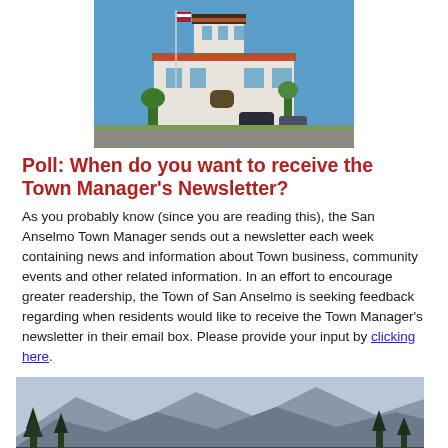[Figure (photo): Exterior photo of the San Anselmo Town Hall building with a flag pole in front, blue sky background, and cars parked nearby.]
Poll: When do you want to receive the Town Manager's Newsletter?
As you probably know (since you are reading this), the San Anselmo Town Manager sends out a newsletter each week containing news and information about Town business, community events and other related information. In an effort to encourage greater readership, the Town of San Anselmo is seeking feedback regarding when residents would like to receive the Town Manager's newsletter in their email box. Please provide your input by clicking here.
[Figure (photo): Landscape photo showing mountain silhouettes with trees in the foreground under a hazy sky.]